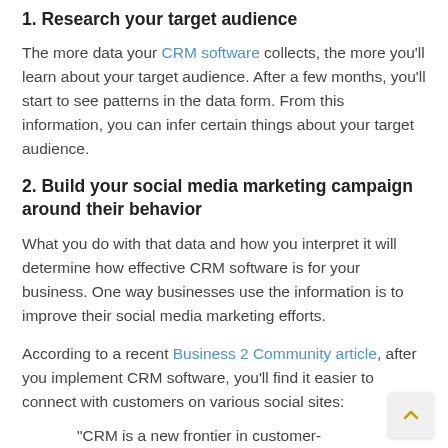1. Research your target audience
The more data your CRM software collects, the more you'll learn about your target audience. After a few months, you'll start to see patterns in the data form. From this information, you can infer certain things about your target audience.
2. Build your social media marketing campaign around their behavior
What you do with that data and how you interpret it will determine how effective CRM software is for your business. One way businesses use the information is to improve their social media marketing efforts.
According to a recent Business 2 Community article, after you implement CRM software, you'll find it easier to connect with customers on various social sites:
"CRM is a new frontier in customer-centric sales and marketing which is reinventing the customer